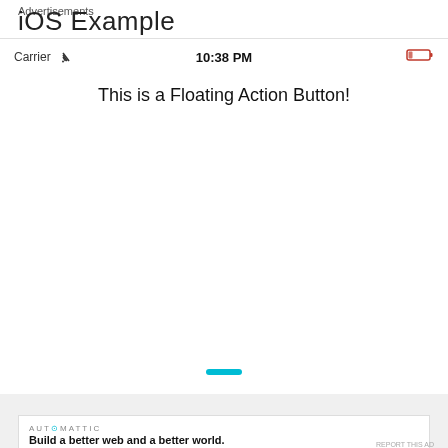iOS Example
[Figure (screenshot): iOS simulator screenshot showing a status bar with 'Carrier' wifi icon, '10:38 PM' time, and a low battery icon. Below is the text 'This is a Floating Action Button!' and a teal floating action button at the bottom.]
Advertisements
[Figure (screenshot): Advertisement banner showing 'AUTOMATTIC' logo and tagline 'Build a better web and a better world.']